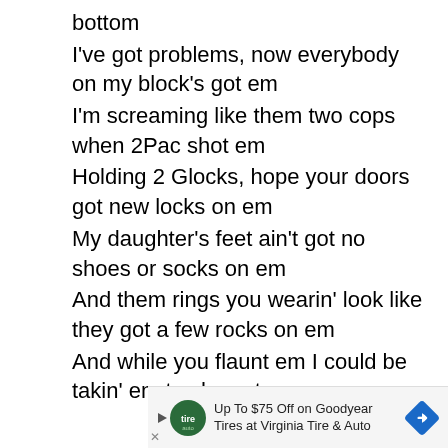bottom
I've got problems, now everybody on my block's got em
I'm screaming like them two cops when 2Pac shot em
Holding 2 Glocks, hope your doors got new locks on em
My daughter's feet ain't got no shoes or socks on em
And them rings you wearin' look like they got a few rocks on em
And while you flaunt em I could be takin' em to shops to pawn em
[Figure (other): Advertisement banner: Up To $75 Off on Goodyear Tires at Virginia Tire & Auto, with green auto logo and blue diamond arrow icon]